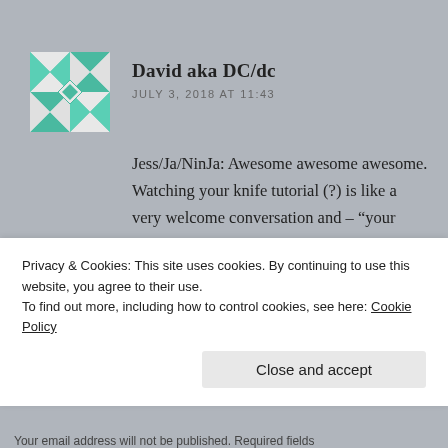David aka DC/dc
JULY 3, 2018 AT 11:43
Jess/Ja/NinJa: Awesome awesome awesome. Watching your knife tutorial (?) is like a very welcome conversation and – “your knife tutorial (?)”! – somehow apt, can’t say why. And this of yours: “But this week, I think I am happy here”; spoken like a buddha. Namasé.
Liked by 1 person
Privacy & Cookies: This site uses cookies. By continuing to use this website, you agree to their use.
To find out more, including how to control cookies, see here: Cookie Policy
Close and accept